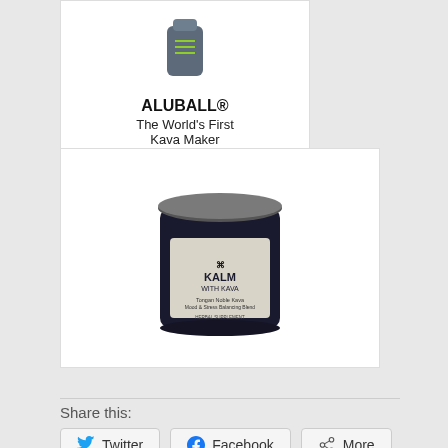[Figure (illustration): Advertisement for ALUBALL - The World's First Kava Maker with a green Relax Now button]
[Figure (photo): Product photo of Kalm with Kava supplement jar with dark metal lid and label]
Share this:
Twitter
Facebook
More